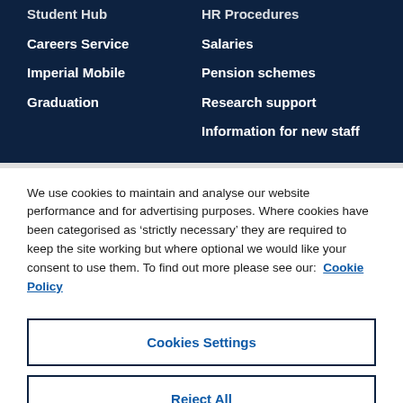Student Hub
Careers Service
Imperial Mobile
Graduation
HR Procedures
Salaries
Pension schemes
Research support
Information for new staff
We use cookies to maintain and analyse our website performance and for advertising purposes. Where cookies have been categorised as ‘strictly necessary’ they are required to keep the site working but where optional we would like your consent to use them. To find out more please see our: Cookie Policy
Cookies Settings
Reject All
Accept All Cookies